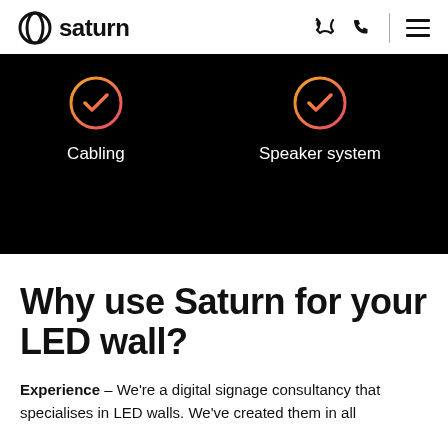saturn
[Figure (infographic): Black background section with two checkmark icons (gradient orange-to-pink circles) labeled 'Cabling' and 'Speaker system']
Why use Saturn for your LED wall?
Experience – We're a digital signage consultancy that specialises in LED walls. We've created them in all